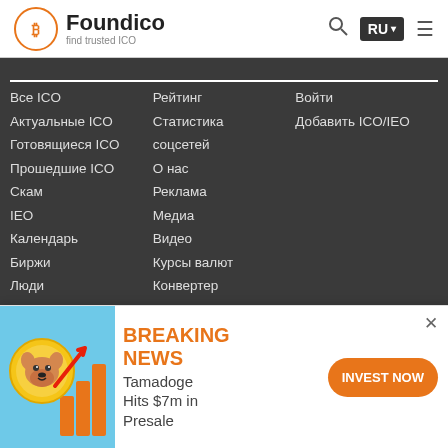Foundico - find trusted ICO
Все ICO
Актуальные ICO
Готовящиеся ICO
Прошедшие ICO
Скам
IEO
Календарь
Биржи
Люди
Блог
Статистика
FAQ
Рейтинг
Статистика соцсетей
О нас
Реклама
Медиа
Видео
Курсы валют
Конвертер криптовалют
Методика расчета ICO Score
Войти
Добавить ICO/IEO
[Figure (screenshot): Advertisement banner: Tamadoge crypto token ad with dog coin image, breaking news text, and invest now button]
BREAKING NEWS Tamadoge Hits $7m in Presale INVEST NOW